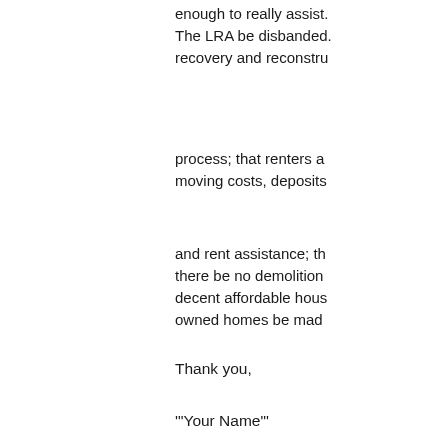enough to really assist. The LRA be disbanded. recovery and reconstru...
process; that renters a moving costs, deposits
and rent assistance; th there be no demolition decent affordable hous owned homes be mad
Thank you,
'"Your Name"'
Get Involved
For more information o www.peopleshurricane...